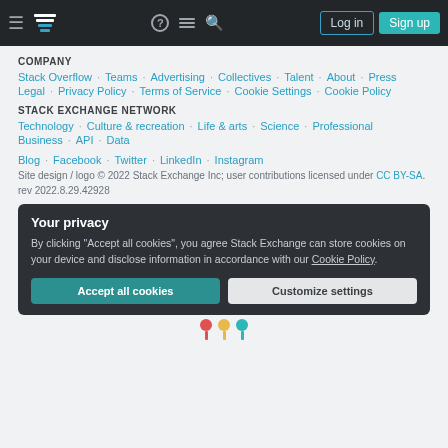Stack Overflow navigation bar with Log in and Sign up buttons
COMPANY
Stack Overflow · Teams · Advertising · Collectives · Talent · About · Press
Legal · Privacy Policy · Terms of Service · Cookie Settings · Cookie Policy
STACK EXCHANGE NETWORK
Technology · Culture & recreation · Life & arts · Science · Professional · Business · API · Data
Blog · Facebook · Twitter · LinkedIn · Instagram
Site design / logo © 2022 Stack Exchange Inc; user contributions licensed under CC BY-SA. rev 2022.8.29.42928
Your privacy
By clicking "Accept all cookies", you agree Stack Exchange can store cookies on your device and disclose information in accordance with our Cookie Policy.
Accept all cookies | Customize settings